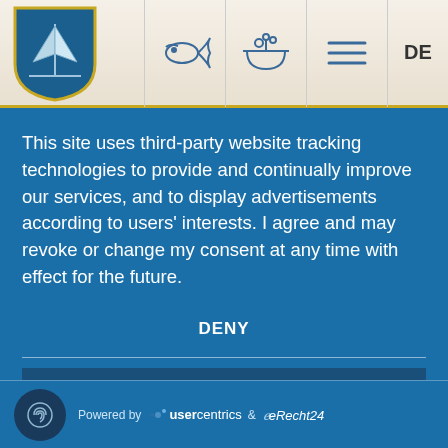[Figure (screenshot): Website header with sailboat shield logo on left, fish icon, bowl icon, hamburger menu icon, and 'DE' language selector on right]
This site uses third-party website tracking technologies to provide and continually improve our services, and to display advertisements according to users' interests. I agree and may revoke or change my consent at any time with effect for the future.
DENY
ACCEPT
MORE
Powered by  usercentrics  &  eRecht24